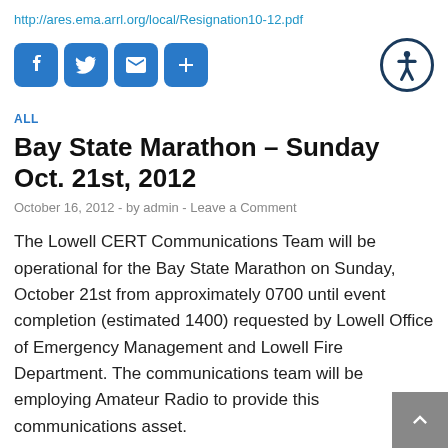http://ares.ema.arrl.org/local/Resignation10-12.pdf
[Figure (other): Social sharing icons: Facebook, Twitter, Email, Plus; and accessibility icon (wheelchair symbol in circle)]
ALL
Bay State Marathon – Sunday Oct. 21st, 2012
October 16, 2012  -  by admin  -  Leave a Comment
The Lowell CERT Communications Team will be operational for the Bay State Marathon on Sunday, October 21st from approximately 0700 until event completion (estimated 1400) requested by Lowell Office of Emergency Management and Lowell Fire Department. The communications team will be employing Amateur Radio to provide this communications asset.